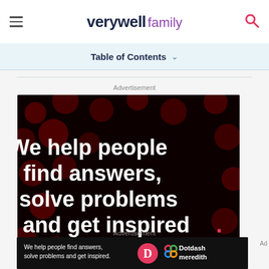verywell family
Table of Contents
Advertisement
[Figure (screenshot): Dark advertisement banner with red dot pattern background. Large white bold text reads: We help people find answers, solve problems and get inspired. with a red period. Below: LEARN MORE with arrow. Bottom right shows a red circle with white D logo and a colorful interlocking diamond/knot logo (Dotdash Meredith).]
Advertisement
[Figure (screenshot): Smaller dark banner ad strip: We help people find answers, solve problems and get inspired. with D logo and Dotdash meredith text.]